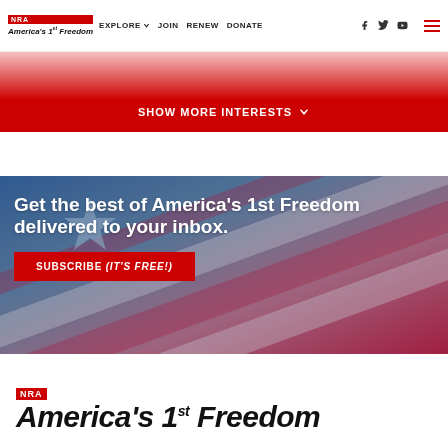NPA America's 1st Freedom | EXPLORE | JOIN | RENEW | DONATE
SHOW MORE INTERESTS
[Figure (illustration): Hero banner with American flag background (red, white, blue stripes and star) with text 'Get the best of America's 1st Freedom delivered to your inbox.' and a red SUBSCRIBE (IT'S FREE!) button]
[Figure (logo): NRA America's 1st Freedom logo in large black italic text with red NRA badge]